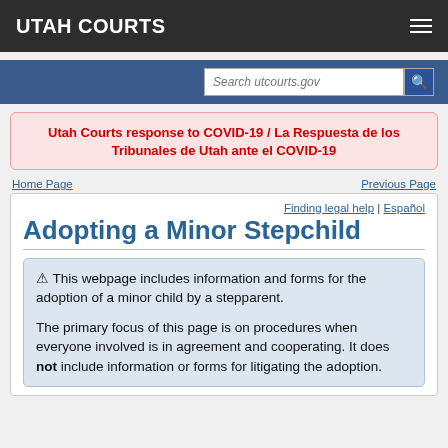UTAH COURTS
Search utcourts.gov
Utah Courts response to COVID-19 / La Respuesta de los Tribunales de Utah ante el COVID-19
Home Page   Previous Page
Finding legal help | Español
Adopting a Minor Stepchild
⚠ This webpage includes information and forms for the adoption of a minor child by a stepparent.

The primary focus of this page is on procedures when everyone involved is in agreement and cooperating. It does not include information or forms for litigating the adoption.